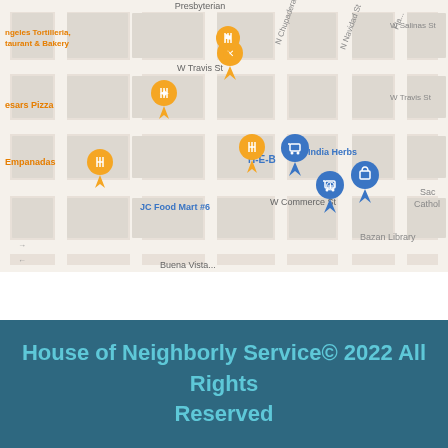[Figure (map): Google Maps view of a neighborhood in San Antonio, TX showing streets including W Travis St, W Commerce St, Buena Vista St, W Salinas St, N Chupadera, N Navidad St. Map markers show orange restaurant pins (Los Angeles Tortilleria Restaurant & Bakery, Cesars Pizza, Empanadas, and another restaurant), blue shopping cart pins (H-E-B, JC Food Mart #6), a blue medical pin (La India Herbs), and a blue bag pin. Text labels include Sac Catholic and Bazan Library.]
House of Neighborly Service© 2022 All Rights Reserved